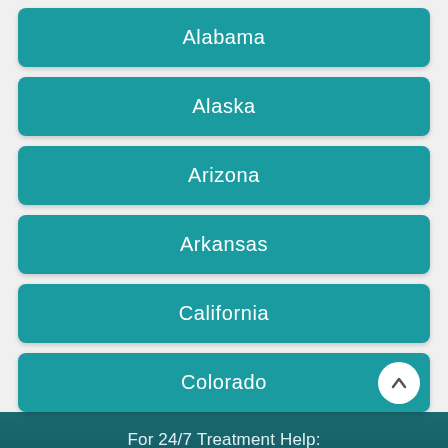Alabama
Alaska
Arizona
Arkansas
California
Colorado
For 24/7 Treatment Help:
Call (844) 597-0006